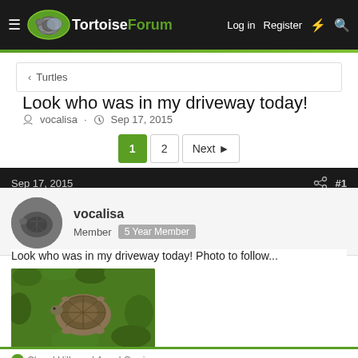TortoiseForum — Log in   Register
< Turtles
Look who was in my driveway today!
vocalisa · Sep 17, 2015
1  2  Next
Sep 17, 2015  #1
vocalisa
Member  5 Year Member
Look who was in my driveway today! Photo to follow...
[Figure (photo): A tortoise sitting on green grass/ground cover, viewed from above]
Cheryl Hills and Angel Garrian